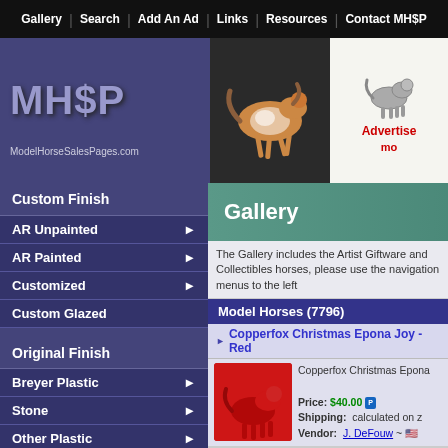Gallery | Search | Add An Ad | Links | Resources | Contact MH$P
MH$P - ModelHorseSalesPages.com
[Figure (screenshot): Running pinto horse illustration in center header]
[Figure (illustration): Grey horse illustration with Advertise text on right]
Gallery
Custom Finish
AR Unpainted
AR Painted
Customized
Custom Glazed
Original Finish
Breyer Plastic
Stone
Other Plastic
China/Porcelain
Resin
Other
The Gallery includes the Artist Giftware and Collectibles horses, please use the navigation menus to the left
Model Horses (7796)
Copperfox Christmas Epona Joy - Red
Copperfox Christmas Epona Price: $40.00 Shipping: calculated on z Vendor: J. DeFouw ~ 🇺🇸
Copperfox Winston Seahorse Aqua Blue
Copperfox Winston Seahor Price: $80.00